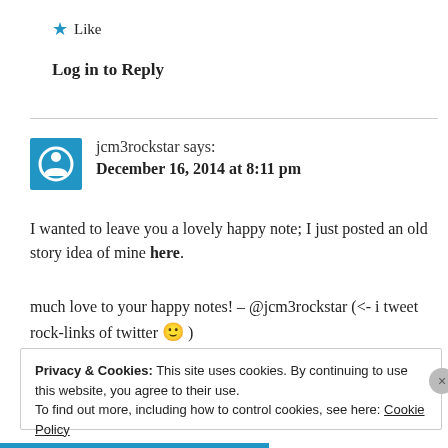★ Like
Log in to Reply
jcm3rockstar says:
December 16, 2014 at 8:11 pm
I wanted to leave you a lovely happy note; I just posted an old story idea of mine here.
much love to your happy notes! – @jcm3rockstar (<- i tweet rock-links of twitter 🙂 )
Privacy & Cookies: This site uses cookies. By continuing to use this website, you agree to their use.
To find out more, including how to control cookies, see here: Cookie Policy
Close and accept